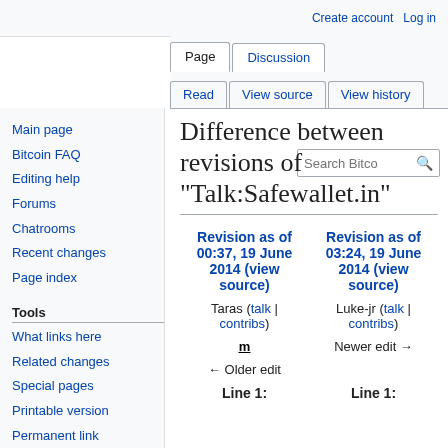Create account  Log in
Page | Discussion | Read | View source | View history | Search Bitco
Difference between revisions of "Talk:Safewallet.in"
Revision as of 00:37, 19 June 2014 (view source)
Taras (talk | contribs)
m
← Older edit
Revision as of 03:24, 19 June 2014 (view source)
Luke-jr (talk | contribs)
Newer edit →
Line 1:
Line 1:
Main page
Bitcoin FAQ
Editing help
Forums
Chatrooms
Recent changes
Page index
Tools
What links here
Related changes
Special pages
Printable version
Permanent link